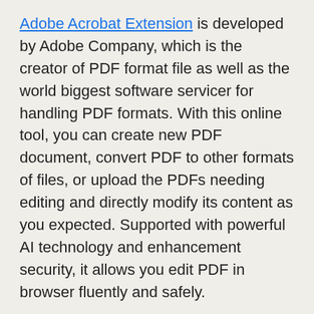Adobe Acrobat Extension is developed by Adobe Company, which is the creator of PDF format file as well as the world biggest software servicer for handling PDF formats. With this online tool, you can create new PDF document, convert PDF to other formats of files, or upload the PDFs needing editing and directly modify its content as you expected. Supported with powerful AI technology and enhancement security, it allows you edit PDF in browser fluently and safely.
Step 1: Subscribe the service of Adobe Acrobat Extension and add it to your web browser, after that you can open the files through it.
Step 2: Select the area and make changes you as you expected, for example you are enabled to change scripts'